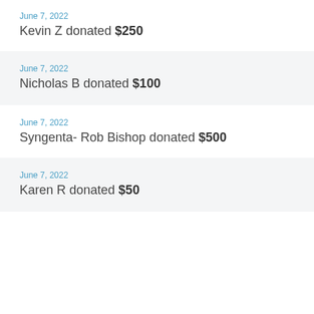June 7, 2022
Kevin Z donated $250
June 7, 2022
Nicholas B donated $100
June 7, 2022
Syngenta- Rob Bishop donated $500
June 7, 2022
Karen R donated $50